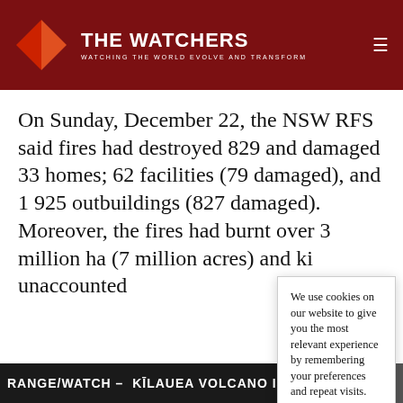THE WATCHERS — WATCHING THE WORLD EVOLVE AND TRANSFORM
On Sunday, December 22, the NSW RFS said fires had destroyed 829 and damaged 33 homes; 62 facilities (79 damaged), and 1 925 outbuildings (827 damaged). Moreover, the fires had burnt over 3 million ha (7 million acres) and ki[lled...] unaccounted[...]
"Bushfire sm[oke...] central and e[astern...] moved the th[ick smoke over...] Sydney coast[...]
We use cookies on our website to give you the most relevant experience by remembering your preferences and repeat visits. By clicking “Accept”, you consent to the use of ALL the cookies.
Do not sell my personal information.
RANGE/WATCH - KĪLAUEA VOLCANO IS ERUPTING WITHIN HA[LEAKALĀ...]